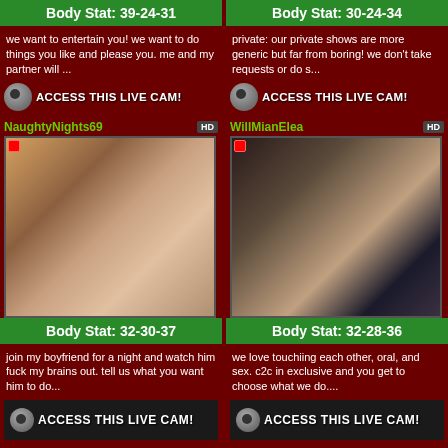Body Stat: 39-24-31
we want to entertain you! we want to do things you like and please you. me and my partner will ...
ACCESS THIS LIVE CAM!
Body Stat: 30-24-34
private: our private shows are more generic but far from boring! we don't take requests or do s...
ACCESS THIS LIVE CAM!
NaughtyNights69
[Figure (photo): Webcam thumbnail photo of a woman]
Body Stat: 32-30-37
join my boyfriend for a night and watch him fuck my brains out. tell us what you want him to do...
ACCESS THIS LIVE CAM!
WillMianElea
[Figure (photo): Webcam thumbnail photo of a couple]
Body Stat: 32-28-36
we love touchiing each other, oral, and sex. c2c in exclusive and you get to choose what we do....
ACCESS THIS LIVE CAM!